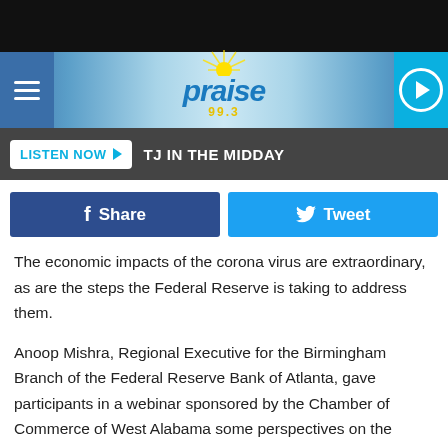[Figure (screenshot): Black top bar at the top of a mobile browser/app screen]
praise 99.3 - radio station header with hamburger menu and play button
LISTEN NOW  TJ IN THE MIDDAY
Share   Tweet
The economic impacts of the corona virus are extraordinary, as are the steps the Federal Reserve is taking to address them.
Anoop Mishra, Regional Executive for the Birmingham Branch of the Federal Reserve Bank of Atlanta, gave participants in a webinar sponsored by the Chamber of Commerce of West Alabama some perspectives on the crisis. Mishra told participants the Fed's response has been rapid and prospects for economic recovery are good but may